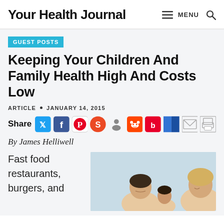Your Health Journal
GUEST POSTS
Keeping Your Children And Family Health High And Costs Low
ARTICLE • JANUARY 14, 2015
[Figure (infographic): Social share bar with Twitter, Facebook, Pinterest, StumbleUpon, Digg, Reddit, Bebo, Delicious, Email, Print icons]
By James Helliwell
Fast food restaurants, burgers, and
[Figure (photo): A family with man, child, and blonde woman smiling and looking down together]